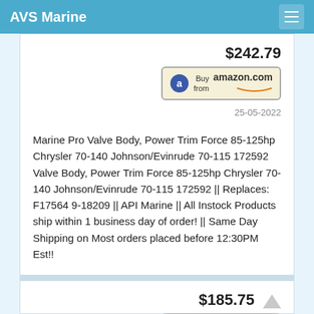AVS Marine
$242.79
[Figure (other): Buy from Amazon.com button]
25-05-2022
Marine Pro Valve Body, Power Trim Force 85-125hp Chrysler 70-140 Johnson/Evinrude 70-115 172592 Valve Body, Power Trim Force 85-125hp Chrysler 70-140 Johnson/Evinrude 70-115 172592 || Replaces: F17564 9-18209 || API Marine || All Instock Products ship within 1 business day of order! || Same Day Shipping on Most orders placed before 12:30PM Est!!
$185.75
[Figure (other): Buy from Amazon.com button (second card)]